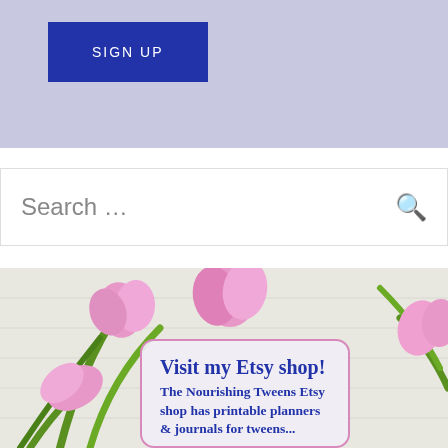[Figure (other): Sign up button on a light periwinkle/lavender background with a dark blue 'SIGN UP' button]
Search …
[Figure (photo): Pink tulips on a white wooden background with a card overlay reading 'Visit my Etsy shop! The Nourishing Tweens Etsy shop has printable planners &...']